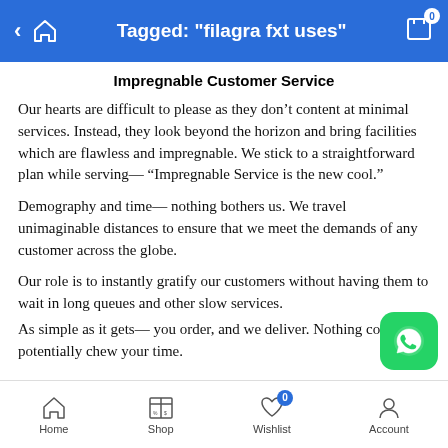Tagged: "filagra fxt uses"
Impregnable Customer Service
Our hearts are difficult to please as they don’t content at minimal services. Instead, they look beyond the horizon and bring facilities which are flawless and impregnable. We stick to a straightforward plan while serving— “Impregnable Service is the new cool.”
Demography and time— nothing bothers us. We travel unimaginable distances to ensure that we meet the demands of any customer across the globe.
Our role is to instantly gratify our customers without having them to wait in long queues and other slow services.
As simple as it gets— you order, and we deliver. Nothing could potentially chew your time.
Home  Shop  Wishlist  Account